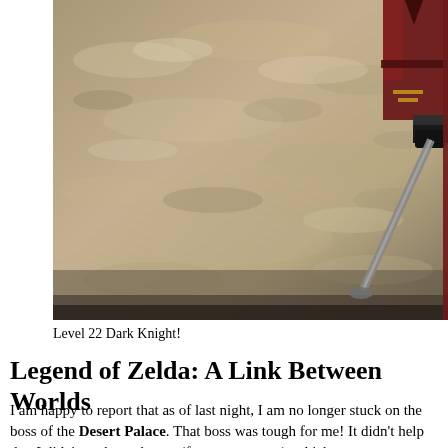[Figure (screenshot): Screenshot from a video game showing a sandy/rocky desert ground texture with a partially visible character in dark red and brown armor holding a weapon, located in the upper right corner of the image.]
Level 22 Dark Knight!
Legend of Zelda: A Link Between Worlds
I am happy to report that as of last night, I am no longer stuck on the boss of the Desert Palace. That boss was tough for me! It didn't help that I didn't yet have the net (for some reason), which